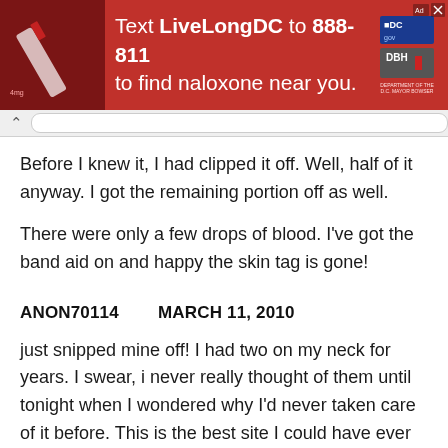[Figure (other): Red advertisement banner: Text LiveLongDC to 888-811 to find naloxone near you. Includes DC and DBH logos and a close button.]
Before I knew it, I had clipped it off. Well, half of it anyway. I got the remaining portion off as well.
There were only a few drops of blood. I've got the band aid on and happy the skin tag is gone!
ANON70114        MARCH 11, 2010
just snipped mine off! I had two on my neck for years. I swear, i never really thought of them until tonight when I wondered why I'd never taken care of it before. This is the best site I could have ever found!